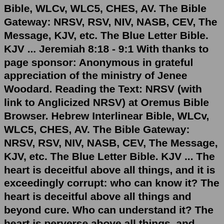Bible, WLCv, WLC5, CHES, AV. The Bible Gateway: NRSV, RSV, NIV, NASB, CEV, The Message, KJV, etc. The Blue Letter Bible. KJV ... Jeremiah 8:18 - 9:1 With thanks to page sponsor: Anonymous in grateful appreciation of the ministry of Jenee Woodard. Reading the Text: NRSV (with link to Anglicized NRSV) at Oremus Bible Browser. Hebrew Interlinear Bible, WLCv, WLC5, CHES, AV. The Bible Gateway: NRSV, RSV, NIV, NASB, CEV, The Message, KJV, etc. The Blue Letter Bible. KJV ... The heart is deceitful above all things, and it is exceedingly corrupt: who can know it? The heart is deceitful above all things and beyond cure. Who can understand it? The heart is perverse above all things, and unsearchable, who can know it? The heart is deceitful above all things, and it is desperately sick: who can know it? The heart is ... KJV Jeremiah 9. Jeremiah lamenteth the Jews for their manifold sins, and for their judgment. Disobedience is the cause of their bitter calamity. He exhorteth to mourn for their destruction, and to trust not in themselves, but in